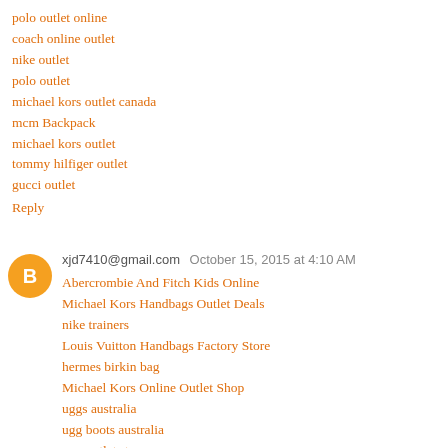polo outlet online
coach online outlet
nike outlet
polo outlet
michael kors outlet canada
mcm Backpack
michael kors outlet
tommy hilfiger outlet
gucci outlet
Reply
xjd7410@gmail.com  October 15, 2015 at 4:10 AM
Abercrombie And Fitch Kids Online
Michael Kors Handbags Outlet Deals
nike trainers
Louis Vuitton Handbags Factory Store
hermes birkin bag
Michael Kors Online Outlet Shop
uggs australia
ugg boots australia
ugg outlet store